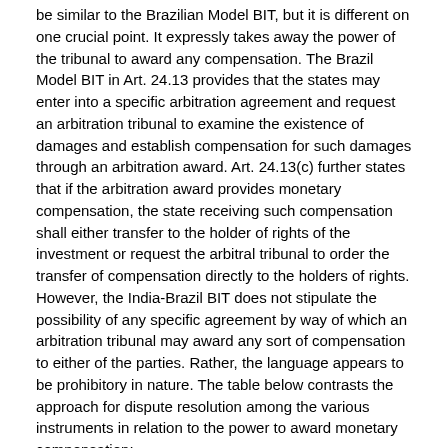be similar to the Brazilian Model BIT, but it is different on one crucial point. It expressly takes away the power of the tribunal to award any compensation. The Brazil Model BIT in Art. 24.13 provides that the states may enter into a specific arbitration agreement and request an arbitration tribunal to examine the existence of damages and establish compensation for such damages through an arbitration award. Art. 24.13(c) further states that if the arbitration award provides monetary compensation, the state receiving such compensation shall either transfer to the holder of rights of the investment or request the arbitral tribunal to order the transfer of compensation directly to the holders of rights. However, the India-Brazil BIT does not stipulate the possibility of any specific agreement by way of which an arbitration tribunal may award any sort of compensation to either of the parties. Rather, the language appears to be prohibitory in nature. The table below contrasts the approach for dispute resolution among the various instruments in relation to the power to award monetary compensation:
| India Model BIT |
| --- |
| "A tribunal can only award monetary compensation for a breach of |